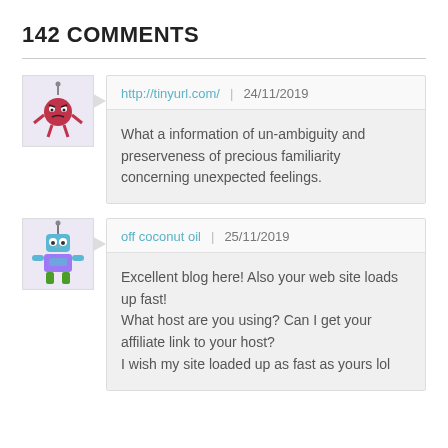142 COMMENTS
http://tinyurl.com/  |  24/11/2019
What a information of un-ambiguity and preserveness of precious familiarity concerning unexpected feelings.
off coconut oil  |  25/11/2019
Excellent blog here! Also your web site loads up fast!
What host are you using? Can I get your affiliate link to your host?
I wish my site loaded up as fast as yours lol